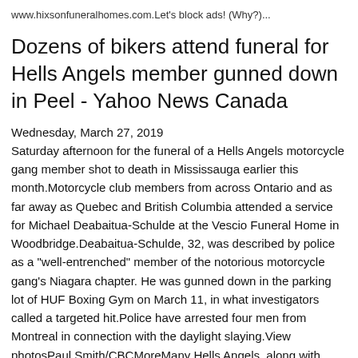www.hixsonfuneralhomes.com.Let's block ads! (Why?)...
Dozens of bikers attend funeral for Hells Angels member gunned down in Peel - Yahoo News Canada
Wednesday, March 27, 2019
Saturday afternoon for the funeral of a Hells Angels motorcycle gang member shot to death in Mississauga earlier this month.Motorcycle club members from across Ontario and as far away as Quebec and British Columbia attended a service for Michael Deabaitua-Schulde at the Vescio Funeral Home in Woodbridge.Deabaitua-Schulde, 32, was described by police as a "well-entrenched" member of the notorious motorcycle gang's Niagara chapter. He was gunned down in the parking lot of HUF Boxing Gym on March 11, in what investigators called a targeted hit.Police have arrested four men from Montreal in connection with the daylight slaying.View photosPaul Smith/CBCMoreMany Hells Angels, along with members of allied outlaw motorcycle clubs - commonly called "support clubs" - were seen milling about outside the funeral home before the service began. There was also a heavy police